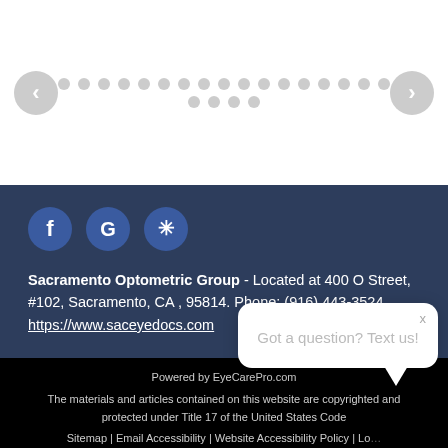[Figure (screenshot): Carousel navigation dots (one active dark dot followed by many light gray dots in two rows) with left and right arrow navigation buttons on either side.]
[Figure (illustration): Social media icon buttons: Facebook (f), Google (G), and Yelp (asterisk/snowflake) — circular blue buttons in a row.]
Sacramento Optometric Group - Located at 400 O Street, #102, Sacramento, CA , 95814. Phone: (916) 443-3524
https://www.saceyedocs.com
Powered by EyeCarePro.com
The materials and articles contained on this website are copyrighted and protected under Title 17 of the United States Code
Sitemap | Email Accessibility | Website Accessibility Policy | Lo...
Got a question? Text us!